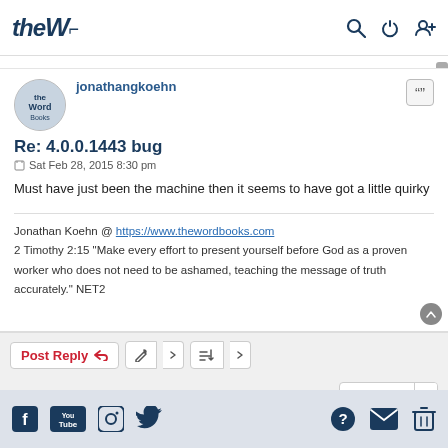theW [logo] | search | power | user icons
jonathangkoehn
Re: 4.0.0.1443 bug
Sat Feb 28, 2015 8:30 pm
Must have just been the machine then it seems to have got a little quirky
Jonathan Koehn @ https://www.thewordbooks.com
2 Timothy 2:15 "Make every effort to present yourself before God as a proven worker who does not need to be ashamed, teaching the message of truth accurately." NET2
Facebook | YouTube | Instagram | Twitter | Help | Mail | Delete